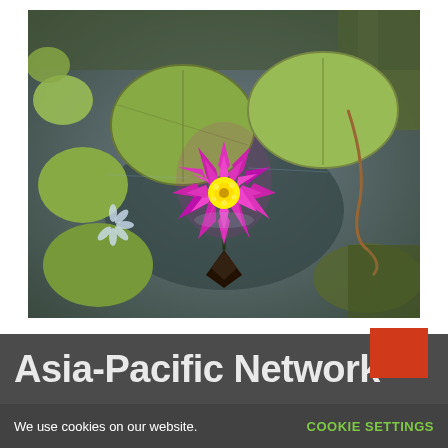[Figure (photo): Overhead view of a lotus/water lily pond with large green lily pads floating on dark water, featuring a vivid purple and yellow water lily flower in bloom, with its reflection visible in the water below.]
Asia-Pacific Network
We use cookies on our website.
COOKIE SETTINGS